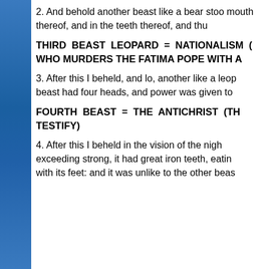2. And behold another beast like a bear stood up, and it raised itself up on one side, and three ribs were in the mouth thereof, and in the teeth thereof, and thus they said to it: Arise, devour much flesh.
THIRD BEAST LEOPARD = NATIONALISM (OR THE NATIONALIST LEADER) WHO MURDERS THE FATIMA POPE WITH A GUN
3. After this I beheld, and lo, another like a leopard, and it had upon it four wings as of a fowl, and the beast had four heads, and power was given to it.
FOURTH BEAST = THE ANTICHRIST (THE SCRIPTURES AND MYSTICS TESTIFY)
4. After this I beheld in the vision of the night, and behold a fourth beast, terrible and wonderful, and exceeding strong, it had great iron teeth, eating and breaking in pieces, and treading down the rest with its feet: and it was unlike to the other beast